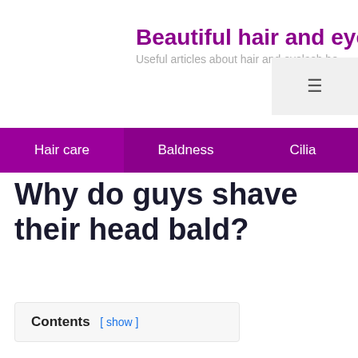Beautiful hair and eye — Useful articles about hair and eyelash be
Hair care | Baldness | Cilia
Why do guys shave their head bald?
Contents [ show ]